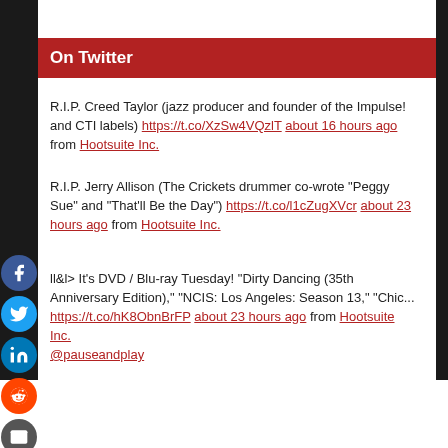On Twitter
R.I.P. Creed Taylor (jazz producer and founder of the Impulse! and CTI labels) https://t.co/XzSw4VQzlT about 16 hours ago from Hootsuite Inc.
R.I.P. Jerry Allison (The Crickets drummer co-wrote "Peggy Sue" and "That'll Be the Day") https://t.co/l1cZugXVcr about 23 hours ago from Hootsuite Inc.
ll&l> It’s DVD / Blu-ray Tuesday! "Dirty Dancing (35th Anniversary Edition)," "NCIS: Los Angeles: Season 13," "Chic... https://t.co/hK8ObnBrFP about 23 hours ago from Hootsuite Inc.
@pauseandplay